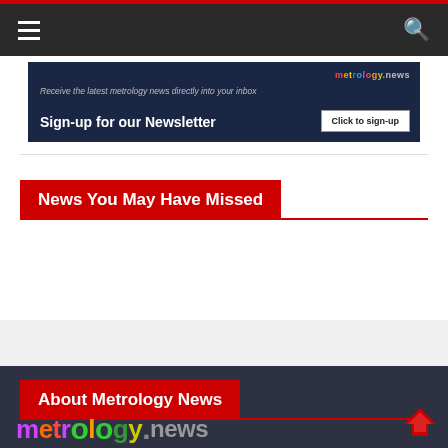metrology.news navigation bar
[Figure (screenshot): Newsletter sign-up banner with dark blue background. Text: 'Receive the latest metrology news directly into your inbox' and 'Sign-up for our Newsletter' with 'Click to sign-up' button and metrology.news logo.]
News You May Have Missed
About Metrology News
[Figure (logo): metrology.news logo in large colorful text with red arrow/chevron on the right]